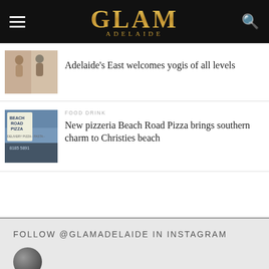GLAM ADELAIDE
Adelaide's East welcomes yogis of all levels
FOOD DRINK
New pizzeria Beach Road Pizza brings southern charm to Christies beach
FOLLOW @GLAMADELAIDE IN INSTAGRAM